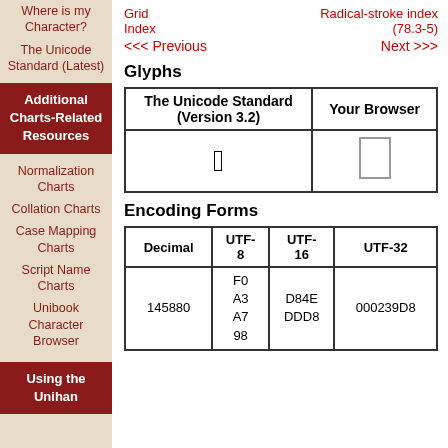Where is my Character?
The Unicode Standard (Latest)
Additional Charts-Related Resources
Normalization Charts
Collation Charts
Case Mapping Charts
Script Name Charts
Unibook Character Browser
Using the Unihan
Grid Index    Radical-stroke index (78.3-5)
<<< Previous    Next >>>
Glyphs
| The Unicode Standard (Version 3.2) | Your Browser |
| --- | --- |
| [CJK character 牛-radical] | [browser glyph box] |
Encoding Forms
| Decimal | UTF-8 | UTF-16 | UTF-32 |
| --- | --- | --- | --- |
| 145880 | F0
A3
A7
98 | D84E
DDD8 | 000239D8 |